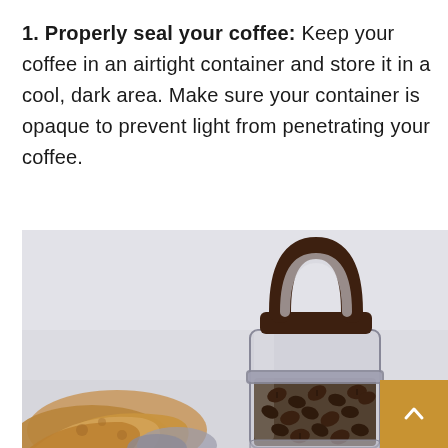1. Properly seal your coffee: Keep your coffee in an airtight container and store it in a cool, dark area. Make sure your container is opaque to prevent light from penetrating your coffee.
[Figure (photo): A glass airtight coffee storage container with a dark brown handle/lid, filled with coffee beans, sitting on a surface next to slices of bread. The background is light grey/white. A numbered list icon overlay is visible in the upper right corner of the image, and a gold/amber scroll-to-top button is in the lower right corner.]